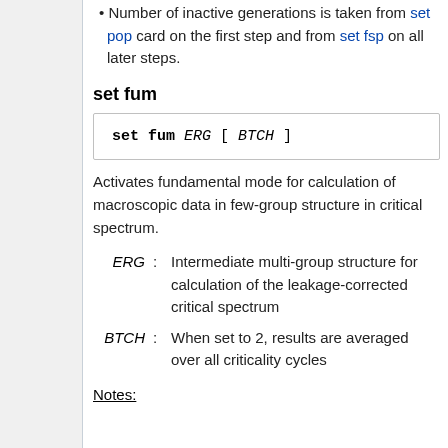Number of inactive generations is taken from set pop card on the first step and from set fsp on all later steps.
set fum
Activates fundamental mode for calculation of macroscopic data in few-group structure in critical spectrum.
ERG : Intermediate multi-group structure for calculation of the leakage-corrected critical spectrum
BTCH : When set to 2, results are averaged over all criticality cycles
Notes: